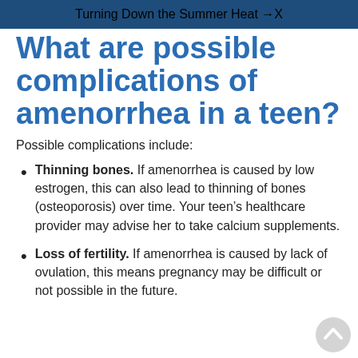Turning Down the Summer Heat → X
What are possible complications of amenorrhea in a teen?
Possible complications include:
Thinning bones. If amenorrhea is caused by low estrogen, this can also lead to thinning of bones (osteoporosis) over time. Your teen's healthcare provider may advise her to take calcium supplements.
Loss of fertility. If amenorrhea is caused by lack of ovulation, this means pregnancy may be difficult or not possible in the future.